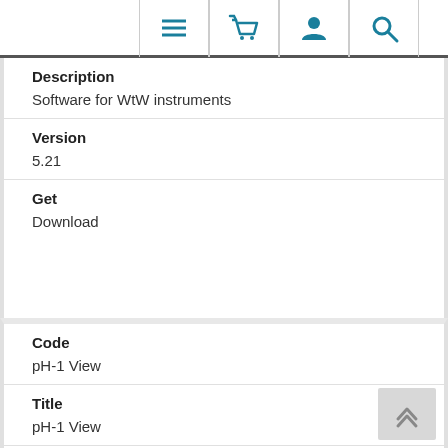Navigation icons: menu, basket, user, search
Description
Software for WtW instruments
Version
5.21
Get
Download
Code
pH-1 View
Title
pH-1 View
Description
Software for fiber optic pH instruments from PreSens